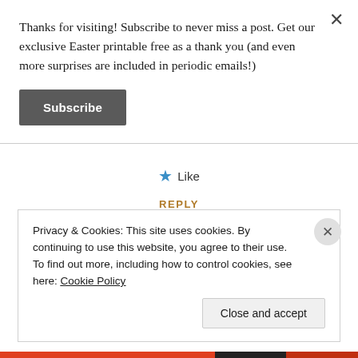Thanks for visiting! Subscribe to never miss a post. Get our exclusive Easter printable free as a thank you (and even more surprises are included in periodic emails!)
Subscribe
★ Like
REPLY
Privacy & Cookies: This site uses cookies. By continuing to use this website, you agree to their use.
To find out more, including how to control cookies, see here: Cookie Policy
Close and accept